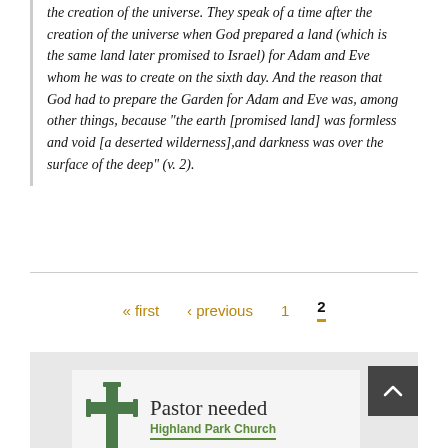the creation of the universe. They speak of a time after the creation of the universe when God prepared a land (which is the same land later promised to Israel) for Adam and Eve whom he was to create on the sixth day. And the reason that God had to prepare the Garden for Adam and Eve was, among other things, because "the earth [promised land] was formless and void [a deserted wilderness],and darkness was over the surface of the deep" (v. 2).
« first ‹ previous 1 2
[Figure (other): Advertisement for Highland Park Church seeking a pastor. Shows a green cross logo beside the text 'Pastor needed' and 'Highland Park Church' with subtitle 'dispensationalist - Kokomo, IN'.]